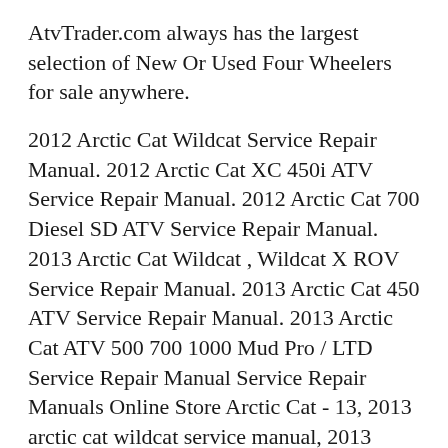AtvTrader.com always has the largest selection of New Or Used Four Wheelers for sale anywhere.
2012 Arctic Cat Wildcat Service Repair Manual. 2012 Arctic Cat XC 450i ATV Service Repair Manual. 2012 Arctic Cat 700 Diesel SD ATV Service Repair Manual. 2013 Arctic Cat Wildcat , Wildcat X ROV Service Repair Manual. 2013 Arctic Cat 450 ATV Service Repair Manual. 2013 Arctic Cat ATV 500 700 1000 Mud Pro / LTD Service Repair Manual Service Repair Manuals Online Store Arctic Cat - 13, 2013 arctic cat wildcat service manual, 2013 arctic cat wildcat repair manual, 2013 arctic cat wild cat service manual, 2013 arctic cat wild cat repair manual, arctic cat wildcat 1000 personal review